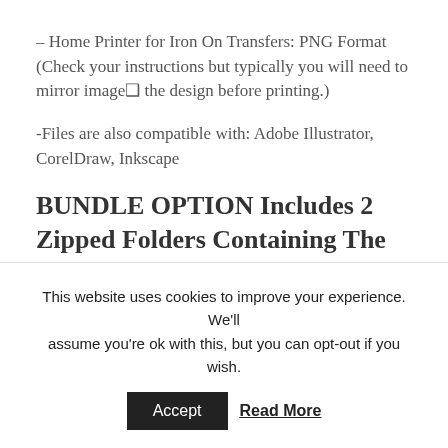– Home Printer for Iron On Transfers: PNG Format (Check your instructions but typically you will need to mirror image⮿ the design before printing.)
-Files are also compatible with: Adobe Illustrator, CorelDraw, Inkscape
BUNDLE OPTION Includes 2 Zipped Folders Containing The Above Embroidery & Cutting files.
What This Purchase Covers:
This website uses cookies to improve your experience. We'll assume you're ok with this, but you can opt-out if you wish.
Accept  Read More